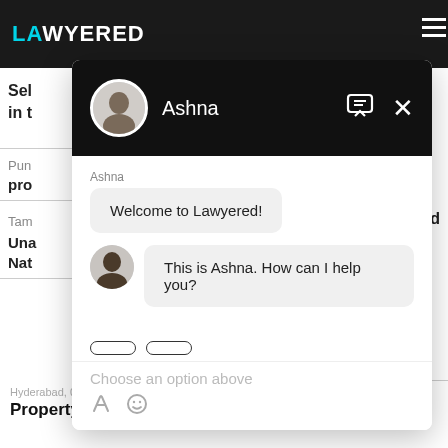[Figure (screenshot): Screenshot of Lawyered website with a chat widget open. The header shows the Lawyered logo in teal and white on a dark background with a hamburger menu. Behind the chat widget, partial text is visible: 'Sel...ed in t...' and labels for Pun, pro, Tam, Una, Nat. The chat widget shows an agent named Ashna with her photo, a welcome message 'Welcome to Lawyered!' and a follow-up 'This is Ashna. How can I help you?' with quick-reply buttons and a 'Choose an option above' placeholder. At the bottom, partially visible text reads 'Hyderabad, 09 Jun, 2021, (1 year, 2 months ago)' and 'Property issue'.]